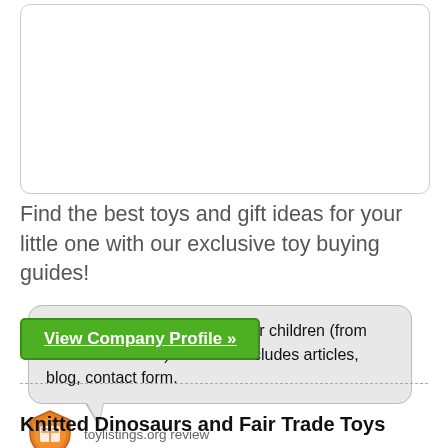[Figure (other): Empty white rounded rectangle box, possibly placeholder for an image]
Find the best toys and gift ideas for your little one with our exclusive toy buying guides!
Website providing gift ideas for children (from toddlers to teens). Website includes articles, blog, contact form.
toylistings.org review
View Company Profile »
Knitted Dinosaurs and Fair Trade Toys